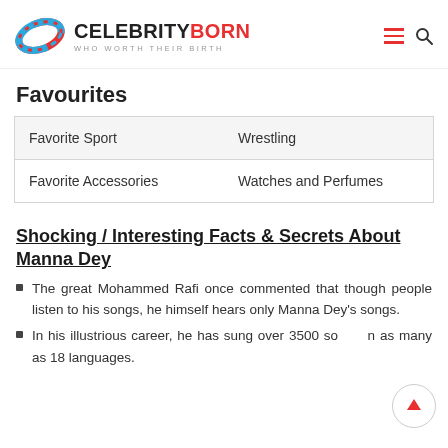CELEBRITYBORN WHO WORTH THEIR BIRTH
Favourites
| Favorite Sport | Wrestling |
| Favorite Accessories | Watches and Perfumes |
Shocking / Interesting Facts & Secrets About Manna Dey
The great Mohammed Rafi once commented that though people listen to his songs, he himself hears only Manna Dey's songs.
In his illustrious career, he has sung over 3500 songs in as many as 18 languages.